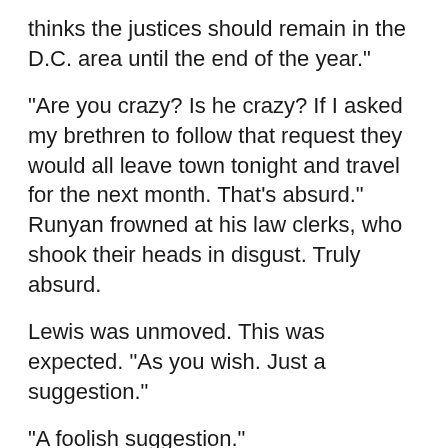thinks the justices should remain in the D.C. area until the end of the year."
"Are you crazy? Is he crazy? If I asked my brethren to follow that request they would all leave town tonight and travel for the next month. That's absurd." Runyan frowned at his law clerks, who shook their heads in disgust. Truly absurd.
Lewis was unmoved. This was expected. "As you wish. Just a suggestion."
"A foolish suggestion."
"The Director did not expect your cooperation on that one. He would, however, expect to be notified in advance of all travel plans so that we can arrange security."